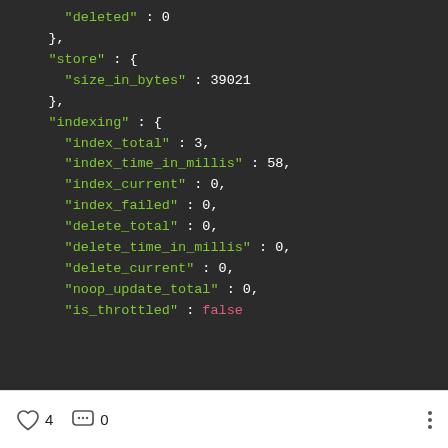"deleted" : 0
},
"store" : {
  "size_in_bytes" : 39021
},
"indexing" : {
  "index_total" : 3,
  "index_time_in_millis" : 58,
  "index_current" : 0,
  "index_failed" : 0,
  "delete_total" : 0,
  "delete_time_in_millis" : 0,
  "delete_current" : 0,
  "noop_update_total" : 0,
  "is_throttled" : false
4   0